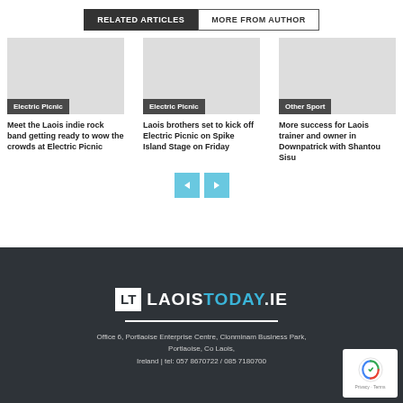RELATED ARTICLES | MORE FROM AUTHOR
[Figure (screenshot): Three article cards with category tags: Electric Picnic, Electric Picnic, Other Sport]
Meet the Laois indie rock band getting ready to wow the crowds at Electric Picnic
Laois brothers set to kick off Electric Picnic on Spike Island Stage on Friday
More success for Laois trainer and owner in Downpatrick with Shantou Sisu
[Figure (logo): LaoisToday.ie logo on dark footer background]
Office 6, Portlaoise Enterprise Centre, Clonminam Business Park, Portlaoise, Co Laois, Ireland | tel: 057 8670722 / 085 7180700